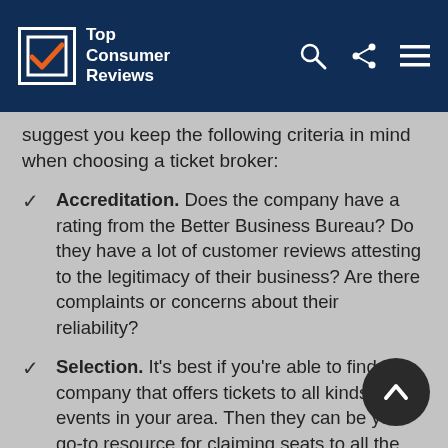Top Consumer Reviews
suggest you keep the following criteria in mind when choosing a ticket broker:
Accreditation. Does the company have a rating from the Better Business Bureau? Do they have a lot of customer reviews attesting to the legitimacy of their business? Are there complaints or concerns about their reliability?
Selection. It's best if you're able to find a company that offers tickets to all kinds of events in your area. Then they can be your go-to resource for claiming seats to all the shows and sports games you want to attend.
Satisfaction. If you aren't able to attend the